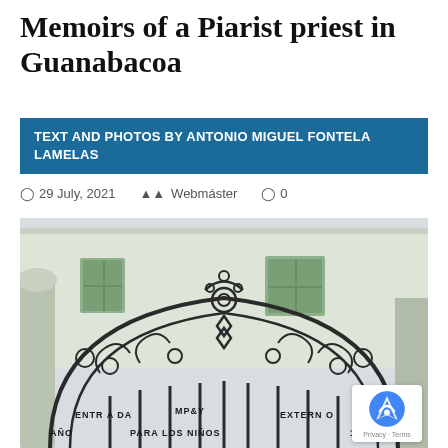Memoirs of a Piarist priest in Guanabacoa
TEXT AND PHOTOS BY ANTONIO MIGUEL FONTELA LAMELAS
29 July, 2021   Webmáster   0
[Figure (photo): Ornate wrought iron gate with scrollwork reading 'ENTRADA PARA LOS NIÑOS EXTERNO 1897', with a colonial building facade visible in the background]